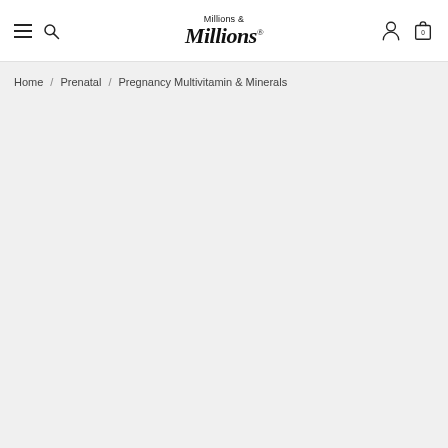Millions & Millions®
Home / Prenatal / Pregnancy Multivitamin & Minerals